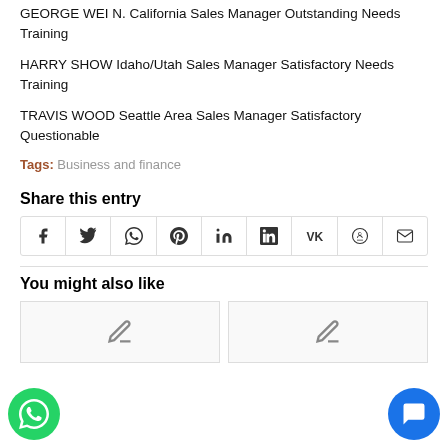GEORGE WEI N. California Sales Manager Outstanding Needs Training
HARRY SHOW Idaho/Utah Sales Manager Satisfactory Needs Training
TRAVIS WOOD Seattle Area Sales Manager Satisfactory Questionable
Tags: Business and finance
Share this entry
[Figure (other): Row of social media share icon buttons: Facebook, Twitter, WhatsApp, Pinterest, LinkedIn, Tumblr, VK, Reddit, Email]
You might also like
[Figure (other): Two thumbnail placeholder boxes with pencil icons inside]